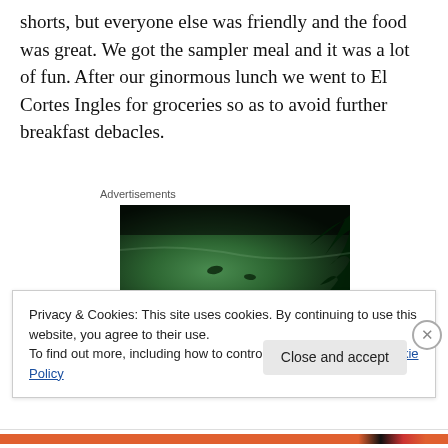shorts, but everyone else was friendly and the food was great. We got the sampler meal and it was a lot of fun. After our ginormous lunch we went to El Cortes Ingles for groceries so as to avoid further breakfast debacles.
Advertisements
[Figure (photo): Dark green-tinted photo showing what appears to be a pool or water surface with plant silhouettes in the corner and small objects floating.]
Privacy & Cookies: This site uses cookies. By continuing to use this website, you agree to their use.
To find out more, including how to control cookies, see here: Cookie Policy